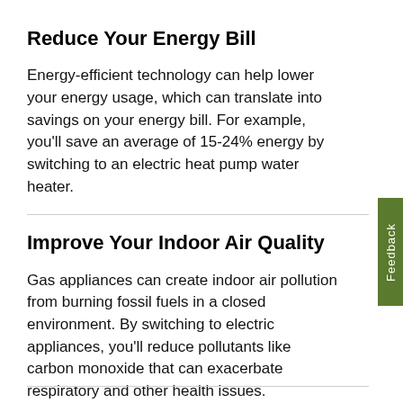Reduce Your Energy Bill
Energy-efficient technology can help lower your energy usage, which can translate into savings on your energy bill. For example, you’ll save an average of 15-24% energy by switching to an electric heat pump water heater.
Improve Your Indoor Air Quality
Gas appliances can create indoor air pollution from burning fossil fuels in a closed environment. By switching to electric appliances, you’ll reduce pollutants like carbon monoxide that can exacerbate respiratory and other health issues.